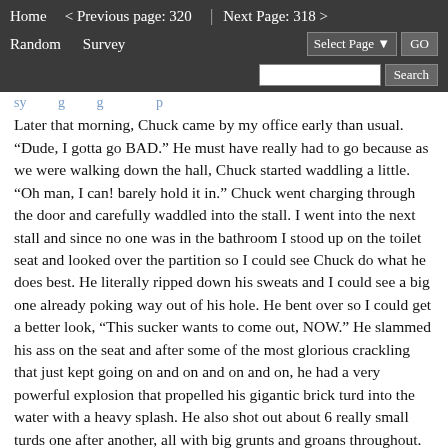Home   < Previous page: 320  |  Next Page: 318 >   Random   Survey   Select Page  GO   Search
Later that morning, Chuck came by my office early than usual. “Dude, I gotta go BAD.” He must have really had to go because as we were walking down the hall, Chuck started waddling a little. “Oh man, I can! barely hold it in.” Chuck went charging through the door and carefully waddled into the stall. I went into the next stall and since no one was in the bathroom I stood up on the toilet seat and looked over the partition so I could see Chuck do what he does best. He literally ripped down his sweats and I could see a big one already poking way out of his hole. He bent over so I could get a better look, “This sucker wants to come out, NOW.” He slammed his ass on the seat and after some of the most glorious crackling that just kept going on and on and on and on, he had a very powerful explosion that propelled his gigantic brick turd into the water with a heavy splash. He also shot out about 6 really small turds one after another, all with big grunts and groans throughout. They all plopped quite nicely. Then Chuck looked up at me and said, “I got more dude.” He leaped forward and grunted for a minute